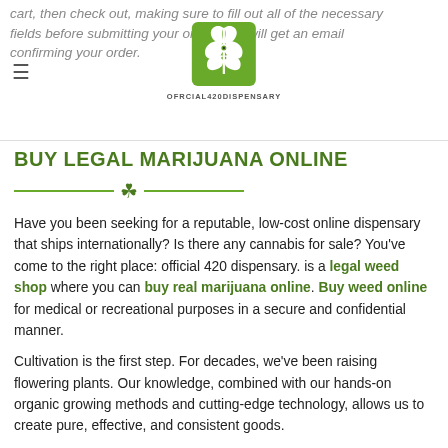cart, then check out, making sure to fill out all of the necessary fields before submitting your order. You will get an email confirming your order.
[Figure (logo): Official 420 Dispensary logo — green cannabis leaf with an eye in the center, above the text OFRCIAL420DISPENSARY]
BUY LEGAL MARIJUANA ONLINE
Have you been seeking for a reputable, low-cost online dispensary that ships internationally? Is there any cannabis for sale? You've come to the right place: official 420 dispensary. is a legal weed shop where you can buy real marijuana online. Buy weed online for medical or recreational purposes in a secure and confidential manner.
Cultivation is the first step. For decades, we've been raising flowering plants. Our knowledge, combined with our hands-on organic growing methods and cutting-edge technology, allows us to create pure, effective, and consistent goods.